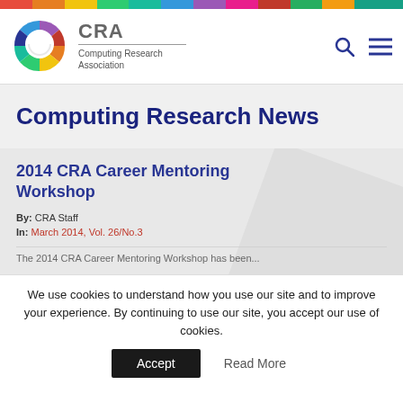CRA — Computing Research Association
Computing Research News
2014 CRA Career Mentoring Workshop
By: CRA Staff
In: March 2014, Vol. 26/No.3
We use cookies to understand how you use our site and to improve your experience. By continuing to use our site, you accept our use of cookies.